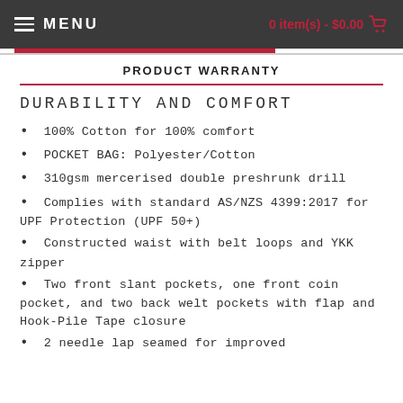MENU  |  0 item(s) - $0.00
PRODUCT WARRANTY
DURABILITY AND COMFORT
100% Cotton for 100% comfort
POCKET BAG: Polyester/Cotton
310gsm mercerised double preshrunk drill
Complies with standard AS/NZS 4399:2017 for UPF Protection (UPF 50+)
Constructed waist with belt loops and YKK zipper
Two front slant pockets, one front coin pocket, and two back welt pockets with flap and Hook-Pile Tape closure
2 needle lap seamed for improved